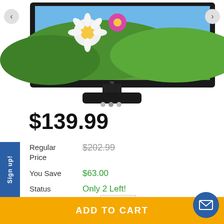[Figure (photo): HP computer monitor with black bezel and stand, displaying a nature scene with flowers and green hills on screen. Navigation arrows on left and right sides.]
$139.99
| Regular Price | $202.99 |
| You Save | $63.00 |
| Status | Only 2 Left! |
ADD TO CART